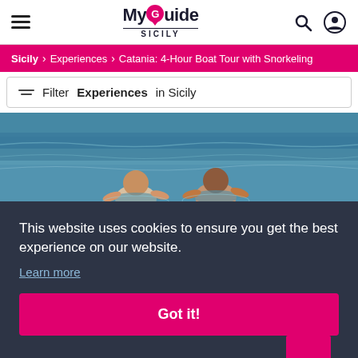MyGuide SICILY
Sicily > Experiences > Catania: 4-Hour Boat Tour with Snorkeling
Filter Experiences in Sicily
[Figure (photo): Two people swimming/snorkeling in blue sea water, smiling at camera]
This website uses cookies to ensure you get the best experience on our website.
Learn more
Got it!